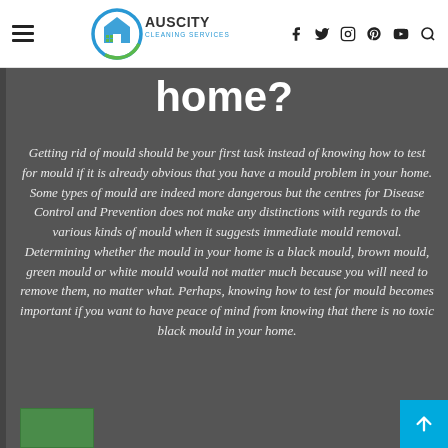AusCity Cleaning Services — navigation bar with logo and social icons
home?
Getting rid of mould should be your first task instead of knowing how to test for mould if it is already obvious that you have a mould problem in your home. Some types of mould are indeed more dangerous but the centres for Disease Control and Prevention does not make any distinctions with regards to the various kinds of mould when it suggests immediate mould removal. Determining whether the mould in your home is a black mould, brown mould, green mould or white mould would not matter much because you will need to remove them, no matter what. Perhaps, knowing how to test for mould becomes important if you want to have peace of mind from knowing that there is no toxic black mould in your home.